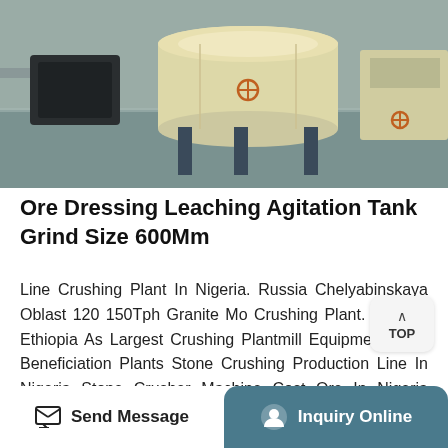[Figure (photo): Industrial ore dressing leaching agitation tank machine in a factory setting, showing a large cream/yellow cylindrical tank on a blue metal frame, with industrial flooring and other equipment visible.]
Ore Dressing Leaching Agitation Tank Grind Size 600Mm
Line Crushing Plant In Nigeria. Russia Chelyabinskaya Oblast 120 150Tph Granite Mo Crushing Plant. Plant In Ethiopia As Largest Crushing Plantmill Equipments And Beneficiation Plants Stone Crushing Production Line In Nigeria Stone Crusher Machine Cost Ore In Nigeria Grinding Mill China,Our Company Is A Large Scale Heavy Enterprise That Get ...